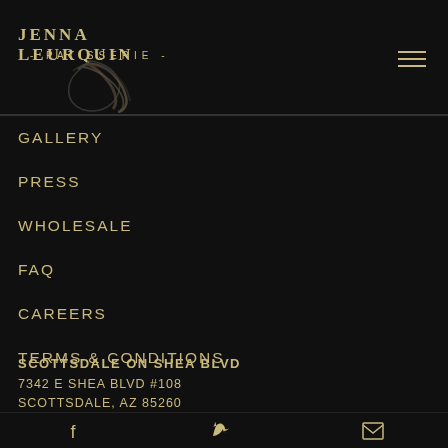[Figure (logo): Jenna Leurquin Patisserie logo with stylized JL monogram script in dark gold on black background]
GALLERY
PRESS
WHOLESALE
FAQ
CAREERS
TERMS & CONDITIONS
SCOTTSDALE ON SHEA BLVD
7342 E SHEA BLVD #108
SCOTTSDALE, AZ 85260
Facebook | Twitter | Email icons